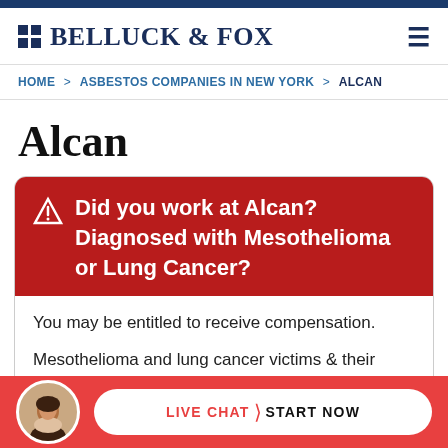[Figure (logo): Belluck & Fox law firm logo with grid icon and firm name in navy serif font]
HOME > ASBESTOS COMPANIES IN NEW YORK > ALCAN
Alcan
Did you work at Alcan? Diagnosed with Mesothelioma or Lung Cancer?
You may be entitled to receive compensation. Mesothelioma and lung cancer victims & their fa...hay...
LIVE CHAT › START NOW